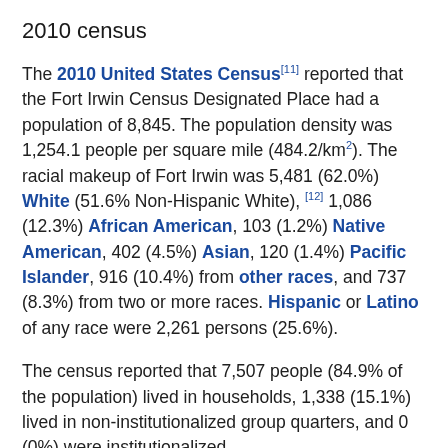2010 census
The 2010 United States Census [11] reported that the Fort Irwin Census Designated Place had a population of 8,845. The population density was 1,254.1 people per square mile (484.2/km²). The racial makeup of Fort Irwin was 5,481 (62.0%) White (51.6% Non-Hispanic White), [12] 1,086 (12.3%) African American, 103 (1.2%) Native American, 402 (4.5%) Asian, 120 (1.4%) Pacific Islander, 916 (10.4%) from other races, and 737 (8.3%) from two or more races. Hispanic or Latino of any race were 2,261 persons (25.6%).
The census reported that 7,507 people (84.9% of the population) lived in households, 1,338 (15.1%) lived in non-institutionalized group quarters, and 0 (0%) were institutionalized.
There were 2,371 households, out of which 1,532 (64.6%) had children under the age of 18 living...